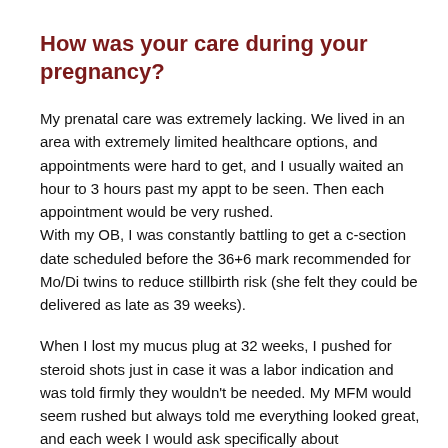How was your care during your pregnancy?
My prenatal care was extremely lacking. We lived in an area with extremely limited healthcare options, and appointments were hard to get, and I usually waited an hour to 3 hours past my appt to be seen. Then each appointment would be very rushed. With my OB, I was constantly battling to get a c-section date scheduled before the 36+6 mark recommended for Mo/Di twins to reduce stillbirth risk (she felt they could be delivered as late as 39 weeks).
When I lost my mucus plug at 32 weeks, I pushed for steroid shots just in case it was a labor indication and was told firmly they wouldn't be needed. My MFM would seem rushed but always told me everything looked great, and each week I would ask specifically about